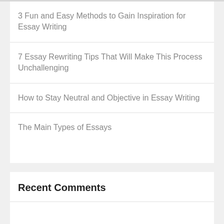3 Fun and Easy Methods to Gain Inspiration for Essay Writing
7 Essay Rewriting Tips That Will Make This Process Unchallenging
How to Stay Neutral and Objective in Essay Writing
The Main Types of Essays
Recent Comments
Categories